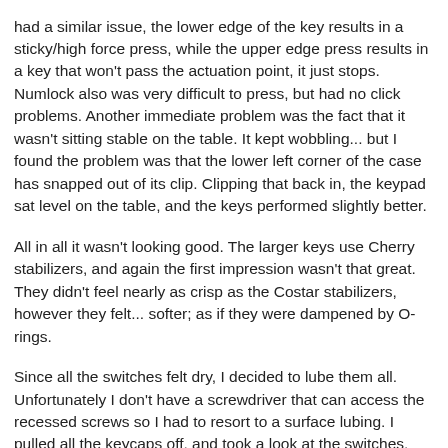had a similar issue, the lower edge of the key results in a sticky/high force press, while the upper edge press results in a key that won't pass the actuation point, it just stops. Numlock also was very difficult to press, but had no click problems. Another immediate problem was the fact that it wasn't sitting stable on the table. It kept wobbling... but I found the problem was that the lower left corner of the case has snapped out of its clip. Clipping that back in, the keypad sat level on the table, and the keys performed slightly better.
All in all it wasn't looking good. The larger keys use Cherry stabilizers, and again the first impression wasn't that great. They didn't feel nearly as crisp as the Costar stabilizers, however they felt... softer; as if they were dampened by O-rings.
Since all the switches felt dry, I decided to lube them all. Unfortunately I don't have a screwdriver that can access the recessed screws so I had to resort to a surface lubing. I pulled all the keycaps off, and took a look at the switches. Nothing looked out of order, so I proceeded to take my can of superlube, and spray it into a bottle cap. Since we only have the aerosol version here, I compromise by spraying it into a container and applying slowly to anything that can't be sprayed. I took a sanded barbeque skewer (smooths out the surface, makes it less... grainy). For each switch, I depressed it slightly, and applied a small drop to each side and let it creep in via Capillary action. Obviously its not a very thorough greasing, but its sufficient to make them work smoother if they're really bad. Each switch got a bit of this, and I did similar